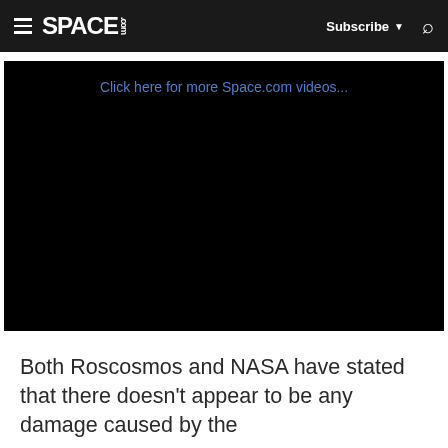SPACE.com — Subscribe — Search
[Figure (screenshot): Black video player embed with a link text 'Click here for more Space.com videos...' near the top]
Both Roscosmos and NASA have stated that there doesn't appear to be any damage caused by the